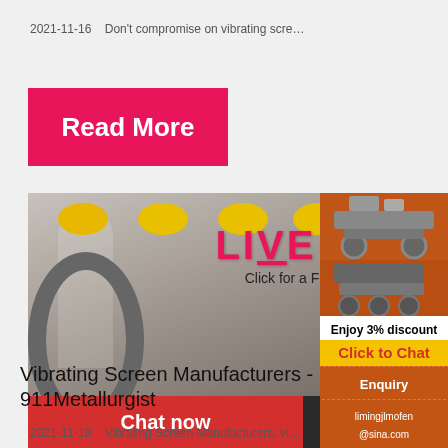2021-11-16   Don't compromise on vibrating scre…
[Figure (other): Pink/red 'Read More' button]
[Figure (photo): Workers in yellow hard hats at industrial facility with LIVE CHAT overlay showing 'Click for a Free Consultation', red 'Chat now' button and dark 'Chat later' button. Close (X) button top right.]
[Figure (other): Orange right sidebar with industrial machine images, '3% discount', 'Click to Chat' in yellow, 'Enquiry' section, and email limingjlmofen@sina.com]
Vibrating Screen Manufacturers - 911Metallurgist
2021-11-18   Vibrating Screen Manufacturers. vi…